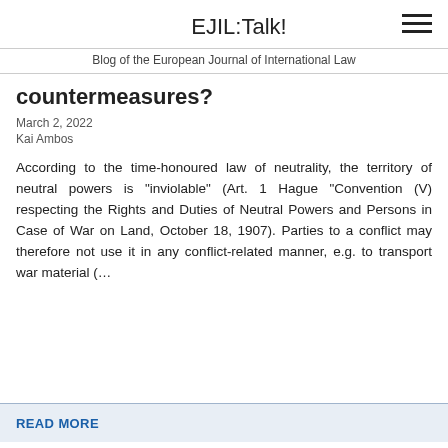EJIL:Talk!
Blog of the European Journal of International Law
countermeasures?
March 2, 2022
Kai Ambos
According to the time-honoured law of neutrality, the territory of neutral powers is “inviolable” (Art. 1 Hague “Convention (V) respecting the Rights and Duties of Neutral Powers and Persons in Case of War on Land, October 18, 1907). Parties to a conflict may therefore not use it in any conflict-related manner, e.g. to transport war material (…
READ MORE